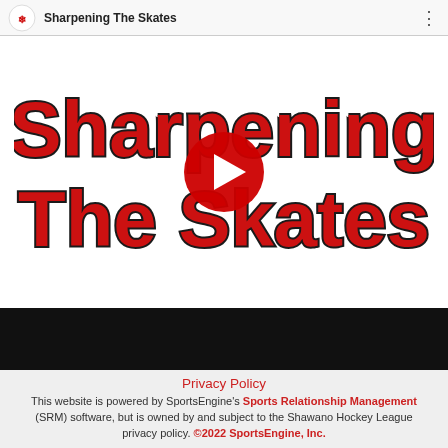[Figure (screenshot): YouTube video thumbnail for 'Sharpening The Skates' with a red play button overlay, showing bold red text 'Sharpening The Skates' on white background. Top bar shows a logo and title. Bottom has a black controls bar.]
Privacy Policy
This website is powered by SportsEngine's Sports Relationship Management (SRM) software, but is owned by and subject to the Shawano Hockey League privacy policy. ©2022 SportsEngine, Inc.